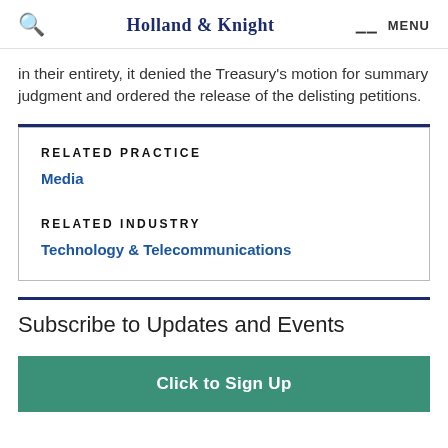Holland & Knight | MENU
in their entirety, it denied the Treasury's motion for summary judgment and ordered the release of the delisting petitions.
RELATED PRACTICE
Media
RELATED INDUSTRY
Technology & Telecommunications
Subscribe to Updates and Events
Click to Sign Up